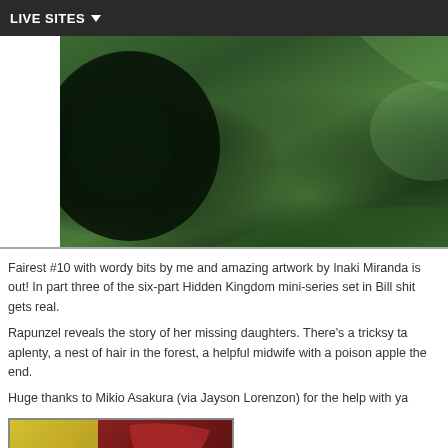LIVE SITES
[Figure (illustration): Green-toned fantasy artwork, appears to be a close-up detail from a comic book cover with dark green hues and shadowy figures]
Fairest #10 with wordy bits by me and amazing artwork by Inaki Miranda is out! In part three of the six-part Hidden Kingdom mini-series set in Bill shit gets real.
Rapunzel reveals the story of her missing daughters. There's a tricksy ta aplenty, a nest of hair in the forest, a helpful midwife with a poison apple the end.
Huge thanks to Mikio Asakura (via Jayson Lorenzon) for the help with ya
[Figure (illustration): Comic book interior page panels showing red-haired and blonde characters in dramatic scenes with blood and dark tones]